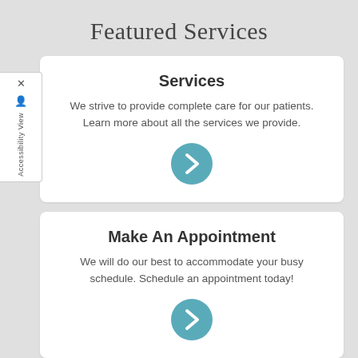Featured Services
Services
We strive to provide complete care for our patients. Learn more about all the services we provide.
[Figure (illustration): Teal circle button with right-pointing chevron arrow icon for Services]
Make An Appointment
We will do our best to accommodate your busy schedule. Schedule an appointment today!
[Figure (illustration): Teal circle button with right-pointing chevron arrow icon for Make An Appointment]